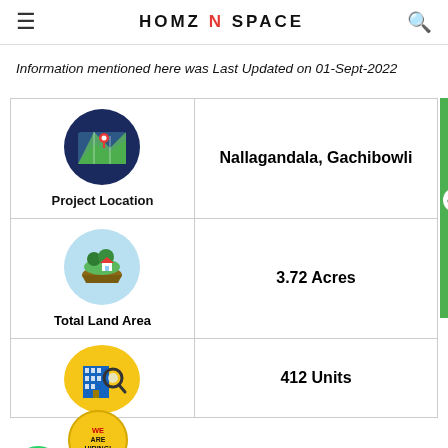HOMZ N SPACE
Information mentioned here was Last Updated on 01-Sept-2022
|  |  |
| --- | --- |
| Project Location | Nallagandala, Gachibowli |
| Total Land Area | 3.72 Acres |
|  | 412 Units |